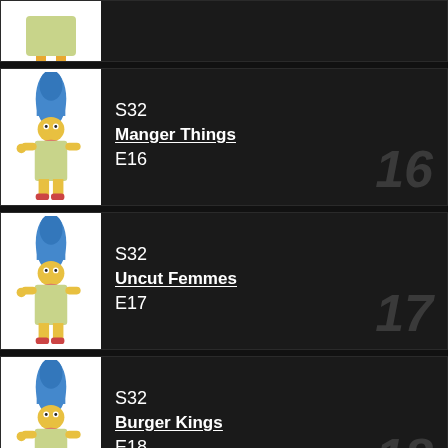[Figure (illustration): Partial episode card at top showing a Marge Simpson character illustration (cropped)]
S32 E16 Manger Things
S32 E17 Uncut Femmes
S32 E18 Burger Kings